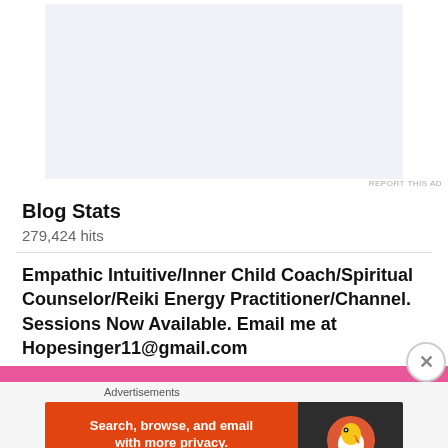[Figure (other): Ad placeholder box with light blue-grey background]
REPORT THIS AD
Blog Stats
279,424 hits
Empathic Intuitive/Inner Child Coach/Spiritual Counselor/Reiki Energy Practitioner/Channel. Sessions Now Available. Email me at Hopesinger11@gmail.com
[Figure (other): Pink horizontal bar]
Advertisements
[Figure (other): DuckDuckGo advertisement banner: Search, browse, and email with more privacy. All in One Free App. DuckDuckGo logo on dark background.]
REPORT THIS AD